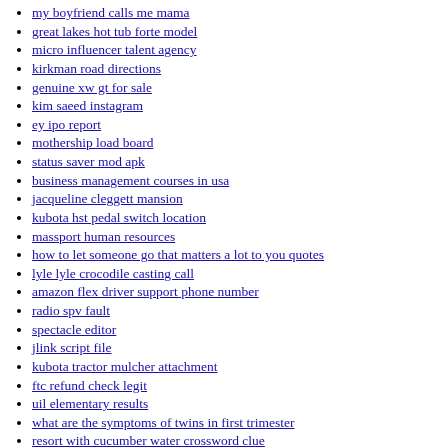my boyfriend calls me mama
great lakes hot tub forte model
micro influencer talent agency
kirkman road directions
genuine xw gt for sale
kim saeed instagram
ey ipo report
mothership load board
status saver mod apk
business management courses in usa
jacqueline cleggett mansion
kubota hst pedal switch location
massport human resources
how to let someone go that matters a lot to you quotes
lyle lyle crocodile casting call
amazon flex driver support phone number
radio spv fault
spectacle editor
jlink script file
kubota tractor mulcher attachment
ftc refund check legit
uil elementary results
what are the symptoms of twins in first trimester
resort with cucumber water crossword clue
warehouse for rent south sacramento